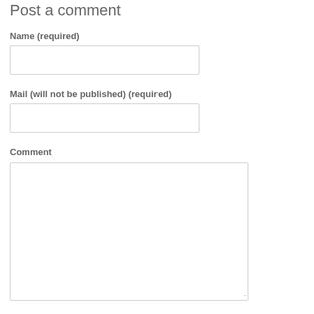Post a comment
Name (required)
[Figure (other): Empty text input field for Name]
Mail (will not be published) (required)
[Figure (other): Empty text input field for Mail]
Comment
[Figure (other): Empty textarea field for Comment with resize handle]